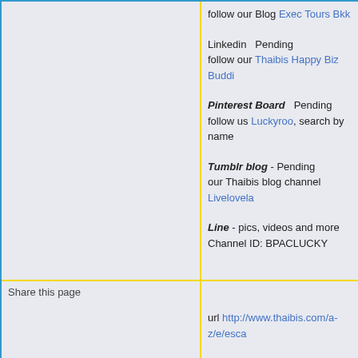follow our Blog Exec Tours Bkk
Linkedin  Pending
follow our Thaibis Happy Biz Buddi
Pinterest Board  Pending
follow us Luckyroo, search by name
Tumblr blog - Pending
our Thaibis blog channel Livelovela
Line - pics, videos and more
Channel ID: BPACLUCKY
Share this page
url http://www.thaibis.com/a-z/e/esca
short url http://goo.gl/NSL35l